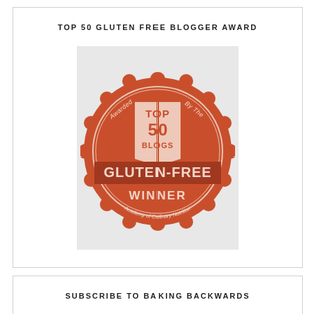TOP 50 GLUTEN FREE BLOGGER AWARD
[Figure (logo): Red circular badge/seal reading: TOP 50 BLOGS, Awarded By The Academy of Culinary Nutrition, GLUTEN-FREE WINNER]
SUBSCRIBE TO BAKING BACKWARDS